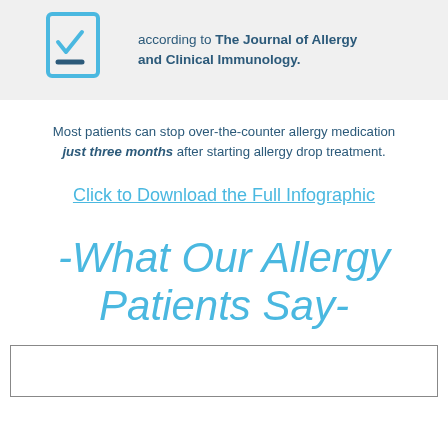[Figure (illustration): Light blue icon of a document with a checkmark and minus sign, on a gray background banner, with text: 'according to The Journal of Allergy and Clinical Immunology.']
Most patients can stop over-the-counter allergy medication just three months after starting allergy drop treatment.
Click to Download the Full Infographic
-What Our Allergy Patients Say-
[Figure (other): Empty bordered box at the bottom of the page]